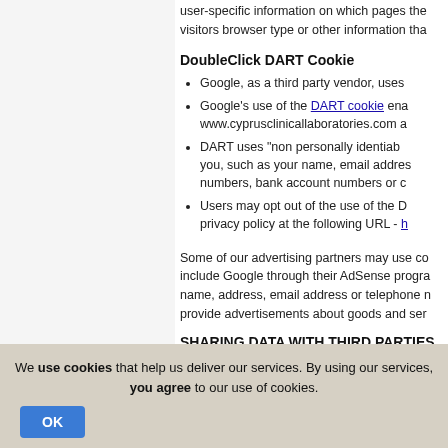user-specific information on which pages the visitors browser type or other information tha
DoubleClick DART Cookie
Google, as a third party vendor, uses
Google's use of the DART cookie ena www.cyprusclinicallaboratories.com a
DART uses "non personally identiab you, such as your name, email addres numbers, bank account numbers or c
Users may opt out of the use of the D privacy policy at the following URL -
Some of our advertising partners may use co include Google through their AdSense progra name, address, email address or telephone n provide advertisements about goods and ser
SHARING DATA WITH THIRD PARTIES
We use cookies that help us deliver our services. By using our services, you agree to our use of cookies.